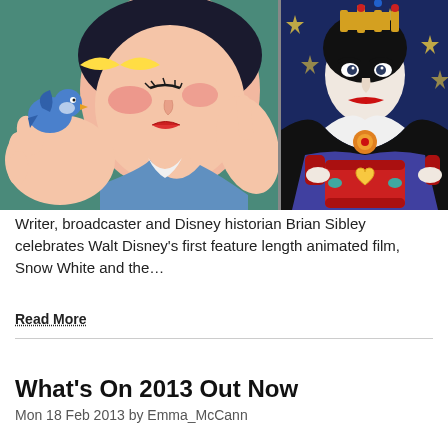[Figure (illustration): Two side-by-side Disney animation stills: left panel shows Snow White holding a small blue bird close to her face, right panel shows the Evil Queen in black and purple robes holding a red jeweled box.]
Writer, broadcaster and Disney historian Brian Sibley celebrates Walt Disney's first feature length animated film, Snow White and the...
Read More
What's On 2013 Out Now
Mon 18 Feb 2013 by Emma_McCann